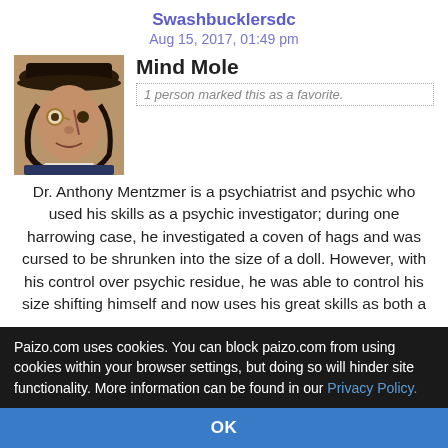Swashbucklersdc
Aug 15, 2017, 01:49 pm
Mind Mole
1 person marked this as a favorite.
[Figure (illustration): Fantasy character portrait: a figure wearing a pirate hat with monocle, pointed ears, scarred face, dark hair, dressed in period clothing]
Dr. Anthony Mentzmer is a psychiatrist and psychic who used his skills as a psychic investigator; during one harrowing case, he investigated a coven of hags and was cursed to be shrunken into the size of a doll. However, with his control over psychic residue, he was able to control his size shifting himself and now uses his great skills as both a parapsychologist and psychic to confront occult menaces as the Mind Mole!
He was asked to join Task Force V as their occult and
Paizo.com uses cookies. You can block paizo.com from using cookies within your browser settings, but doing so will hinder site functionality. More information can be found in our Privacy Policy.
OK